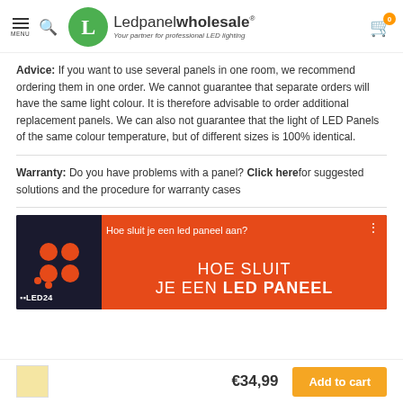Ledpanelwholesale - Your partner for professional LED lighting
Advice: If you want to use several panels in one room, we recommend ordering them in one order. We cannot guarantee that separate orders will have the same light colour. It is therefore advisable to order additional replacement panels. We can also not guarantee that the light of LED Panels of the same colour temperature, but of different sizes is 100% identical.
Warranty: Do you have problems with a panel? Click here for suggested solutions and the procedure for warranty cases
[Figure (screenshot): Video thumbnail for 'Hoe sluit je een led paneel aan?' from LED24, showing orange and dark background with bold text 'HOE SLUIT JE EEN LED PANEEL']
€34,99  Add to cart